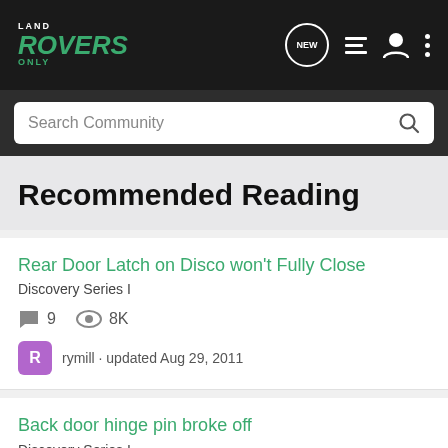Land Rovers Only - Navigation header with logo, NEW, list, user, and more icons
Search Community
Recommended Reading
Rear Door Latch on Disco won't Fully Close
Discovery Series I
9 comments · 8K views
rymill · updated Aug 29, 2011
Back door hinge pin broke off
Discovery Series I
5 comments · 9K views